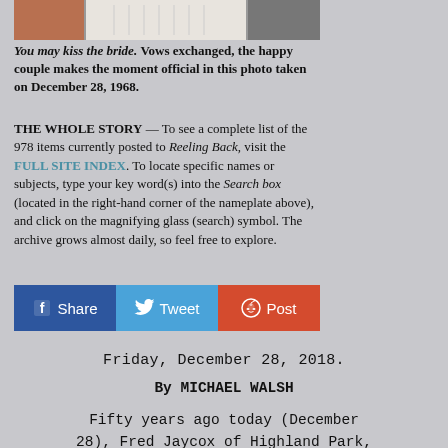[Figure (photo): Bottom portion of a wedding photo showing a bride in white and groom in dark suit]
You may kiss the bride. Vows exchanged, the happy couple makes the moment official in this photo taken on December 28, 1968.
THE WHOLE STORY — To see a complete list of the 978 items currently posted to Reeling Back, visit the FULL SITE INDEX. To locate specific names or subjects, type your key word(s) into the Search box (located in the right-hand corner of the nameplate above), and click on the magnifying glass (search) symbol. The archive grows almost daily, so feel free to explore.
[Figure (infographic): Social sharing bar with Facebook Share, Twitter Tweet, and Reddit Post buttons]
Friday, December 28, 2018.
By MICHAEL WALSH
Fifty years ago today (December 28), Fred Jaycox of Highland Park,